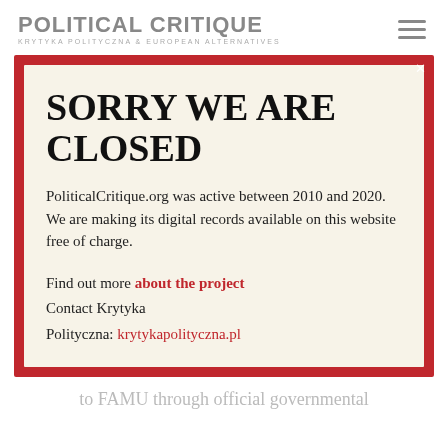POLITICAL CRITIQUE
KRYTYKA POLITYCZNA & EUROPEAN ALTERNATIVES
SORRY WE ARE CLOSED
PoliticalCritique.org was active between 2010 and 2020.  We are making its digital records available on this website free of charge.
Find out more about the project
Contact Krytyka Polityczna: krytykapolityczna.pl
to FAMU through official governmental